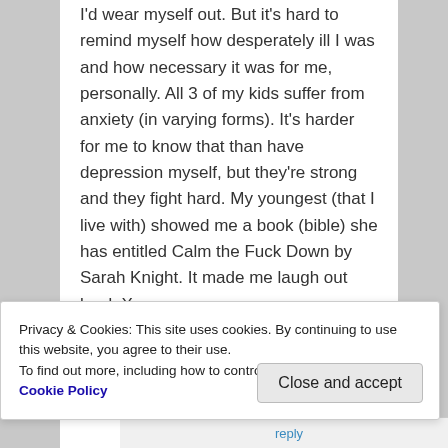... I'd wear myself out. But it's hard to remind myself how desperately ill I was and how necessary it was for me, personally. All 3 of my kids suffer from anxiety (in varying forms). It's harder for me to know that than have depression myself, but they're strong and they fight hard. My youngest (that I live with) showed me a book (bible) she has entitled Calm the Fuck Down by Sarah Knight. It made me laugh out loud. X
★ Liked by 1 person
Privacy & Cookies: This site uses cookies. By continuing to use this website, you agree to their use. To find out more, including how to control cookies, see here: Cookie Policy